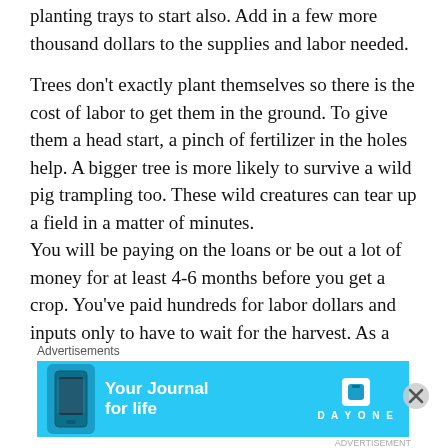planting trays to start also.  Add in a few more thousand dollars to the supplies and labor needed.
Trees don't exactly plant themselves so there is the cost of labor to get them in the ground.  To give them a head start, a pinch of fertilizer in the holes help.  A bigger tree is more likely to survive a wild pig trampling too.  These wild creatures can tear up a field in a matter of minutes.
You will be paying on the loans or be out a lot of money for at least 4-6 months before you get a crop.  You've paid hundreds for labor dollars and inputs only to have to wait for the harvest.  As a business owner, you're required by law to pay your workers
[Figure (other): Advertisement banner for DayOne 'Your Journal for life' app with light blue background, phone image on left, app icon on right, with close button.]